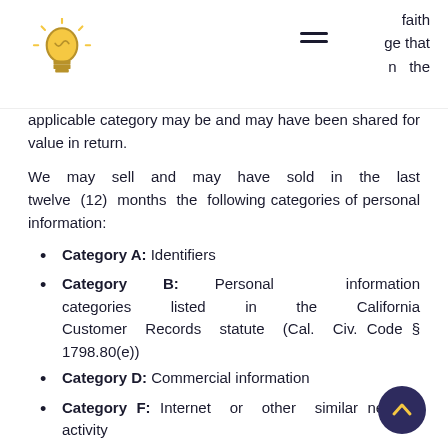faith
ge that
n the
applicable category may be and may have been shared for value in return.
We may sell and may have sold in the last twelve (12) months the following categories of personal information:
Category A: Identifiers
Category B: Personal information categories listed in the California Customer Records statute (Cal. Civ. Code § 1798.80(e))
Category D: Commercial information
Category F: Internet or other similar network activity
Share of Personal Information
We may share Your personal information identified in the above categories with the following categories of third parties: